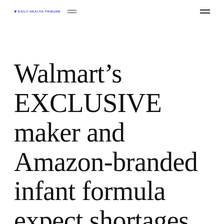DAILY HEALTH TRIBUNE
Walmart's EXCLUSIVE maker and Amazon-branded infant formula expect shortages through rest of 2022